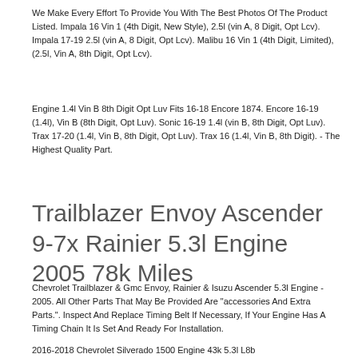We Make Every Effort To Provide You With The Best Photos Of The Product Listed. Impala 16 Vin 1 (4th Digit, New Style), 2.5l (vin A, 8 Digit, Opt Lcv). Impala 17-19 2.5l (vin A, 8 Digit, Opt Lcv). Malibu 16 Vin 1 (4th Digit, Limited), (2.5l, Vin A, 8th Digit, Opt Lcv).
Engine 1.4l Vin B 8th Digit Opt Luv Fits 16-18 Encore 1874. Encore 16-19 (1.4l), Vin B (8th Digit, Opt Luv). Sonic 16-19 1.4l (vin B, 8th Digit, Opt Luv). Trax 17-20 (1.4l, Vin B, 8th Digit, Opt Luv). Trax 16 (1.4l, Vin B, 8th Digit). - The Highest Quality Part.
Trailblazer Envoy Ascender 9-7x Rainier 5.3l Engine 2005 78k Miles
Chevrolet Trailblazer & Gmc Envoy, Rainier & Isuzu Ascender 5.3l Engine - 2005. All Other Parts That May Be Provided Are "accessories And Extra Parts.". Inspect And Replace Timing Belt If Necessary, If Your Engine Has A Timing Chain It Is Set And Ready For Installation.
2016-2018 Chevrolet Silverado 1500 Engine 43k 5.3l L8b